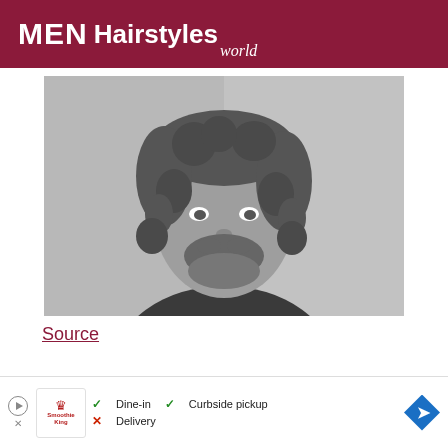MEN Hairstyles world
[Figure (photo): Grayscale photo of a man with curly dark hair and a beard, looking slightly to the side, wearing a dark shirt, against a light gray background.]
Source
[Figure (other): Advertisement banner showing Smoothie King restaurant ad with dine-in, curbside pickup, and delivery options.]